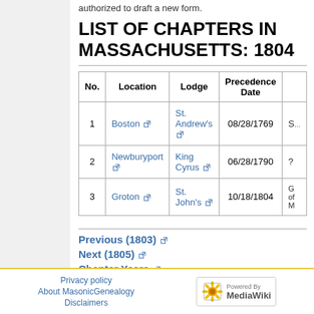authorized to draft a new form.
LIST OF CHAPTERS IN MASSACHUSETTS: 1804
| No. | Location | Lodge | Precedence Date |  |
| --- | --- | --- | --- | --- |
| 1 | Boston | St. Andrew's | 08/28/1769 | S… |
| 2 | Newburyport | King Cyrus | 06/28/1790 | ? |
| 3 | Groton | St. John's | 10/18/1804 | G… of… M… |
Previous (1803)
Next (1805)
Chapter Years
Privacy policy   About MasonicGenealogy   Disclaimers   Powered by MediaWiki